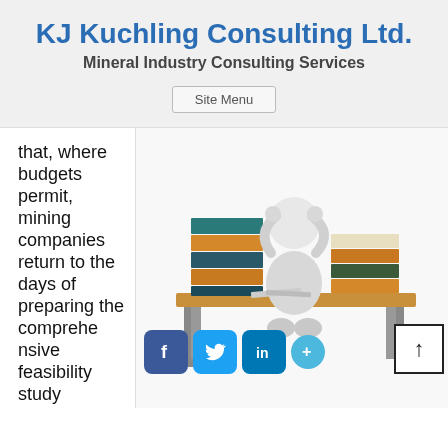KJ Kuchling Consulting Ltd.
Mineral Industry Consulting Services
Site Menu
that, where budgets permit, mining companies return to the days of preparing the comprehensive feasibility study
[Figure (illustration): 3D rendered white figure sitting at a desk overwhelmed by tall stacks of books on either side, looking stressed with hands on head. Papers on the desk surface.]